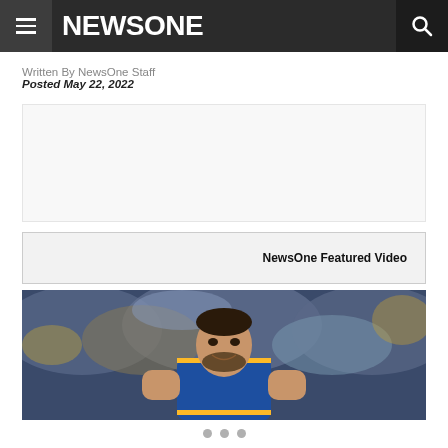NEWSONE
Written By NewsOne Staff
Posted May 22, 2022
NewsOne Featured Video
[Figure (photo): Basketball player in a Golden State Warriors blue and yellow jersey smiling, with a blurred crowd in the background]
• • •